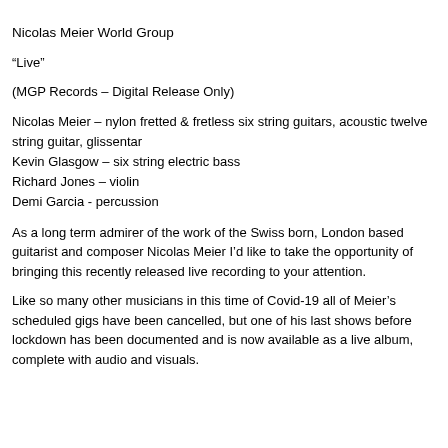Nicolas Meier World Group
“Live”
(MGP Records – Digital Release Only)
Nicolas Meier – nylon fretted & fretless six string guitars, acoustic twelve string guitar, glissentar
Kevin Glasgow – six string electric bass
Richard Jones – violin
Demi Garcia - percussion
As a long term admirer of the work of the Swiss born, London based guitarist and composer Nicolas Meier I’d like to take the opportunity of bringing this recently released live recording to your attention.
Like so many other musicians in this time of Covid-19 all of Meier’s scheduled gigs have been cancelled, but one of his last shows before lockdown has been documented and is now available as a live album, complete with audio and visuals.